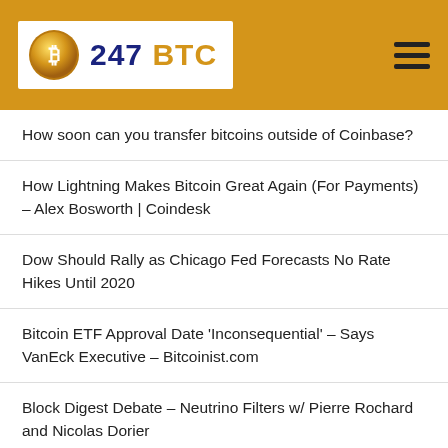247 BTC
How soon can you transfer bitcoins outside of Coinbase?
How Lightning Makes Bitcoin Great Again (For Payments) – Alex Bosworth | Coindesk
Dow Should Rally as Chicago Fed Forecasts No Rate Hikes Until 2020
Bitcoin ETF Approval Date 'Inconsequential' – Says VanEck Executive – Bitcoinist.com
Block Digest Debate – Neutrino Filters w/ Pierre Rochard and Nicolas Dorier
Bitcoin Backers Should Be Ticked if SEC Approves Negative-Fee ETF